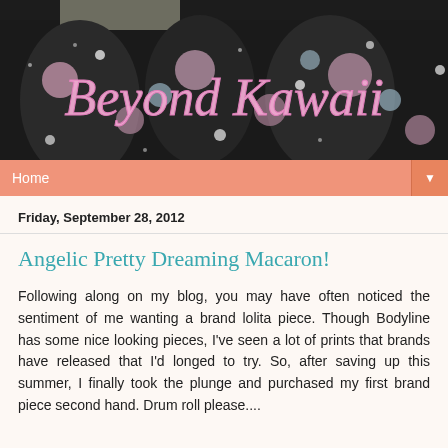[Figure (photo): Blog header banner showing a dark floral dress/skirt fabric (black with pink, white, and light blue flowers and dots) with the text 'Beyond Kawaii' overlaid in large pink decorative font]
Home ▼
Friday, September 28, 2012
Angelic Pretty Dreaming Macaron!
Following along on my blog, you may have often noticed the sentiment of me wanting a brand lolita piece. Though Bodyline has some nice looking pieces, I've seen a lot of prints that brands have released that I'd longed to try. So, after saving up this summer, I finally took the plunge and purchased my first brand piece second hand. Drum roll please....